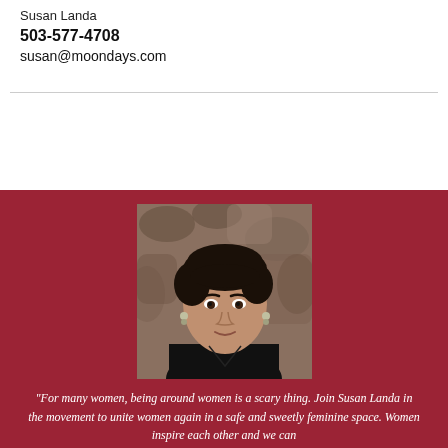Susan Landa
503-577-4708
susan@moondays.com
[Figure (photo): Portrait photo of Susan Landa, a woman with short dark hair, wearing a black sleeveless top, with earrings, against a stone background. Photo is displayed on a dark red background.]
"For many women, being around women is a scary thing. Join Susan Landa in the movement to unite women again in a safe and sweetly feminine space. Women inspire each other and we can